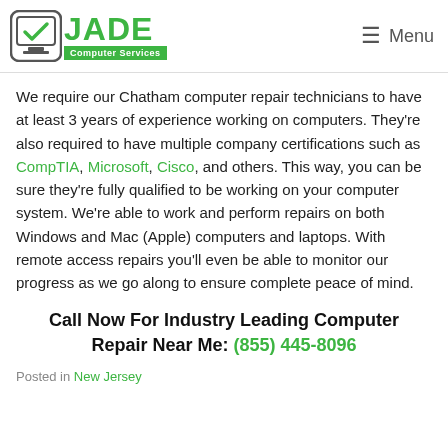JADE Computer Services — Menu
We require our Chatham computer repair technicians to have at least 3 years of experience working on computers. They're also required to have multiple company certifications such as CompTIA, Microsoft, Cisco, and others. This way, you can be sure they're fully qualified to be working on your computer system. We're able to work and perform repairs on both Windows and Mac (Apple) computers and laptops. With remote access repairs you'll even be able to monitor our progress as we go along to ensure complete peace of mind.
Call Now For Industry Leading Computer Repair Near Me: (855) 445-8096
Posted in New Jersey